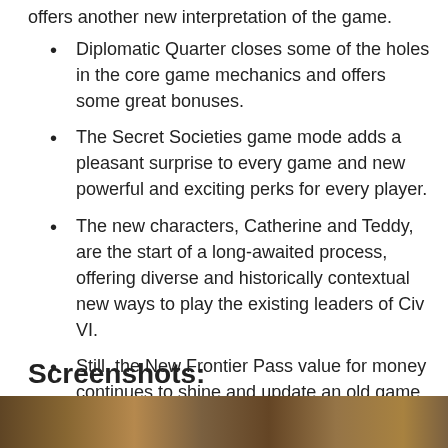offers another new interpretation of the game.
Diplomatic Quarter closes some of the holes in the core game mechanics and offers some great bonuses.
The Secret Societies game mode adds a pleasant surprise to every game and new powerful and exciting perks for every player.
The new characters, Catherine and Teddy, are the start of a long-awaited process, offering diverse and historically contextual new ways to play the existing leaders of Civ VI.
Still, the New Frontier Pass value for money continues to shine and update an old game for longtime gamers.
Screenshots:
[Figure (photo): A strip of game screenshots at the bottom of the page.]